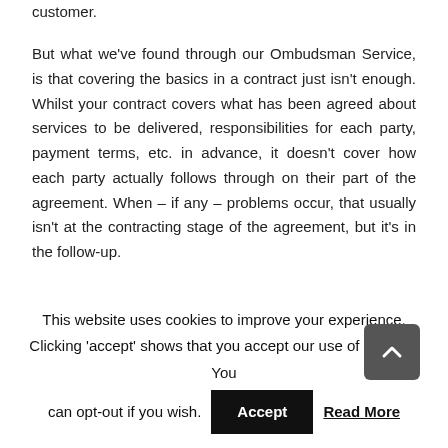customer.
But what we've found through our Ombudsman Service, is that covering the basics in a contract just isn't enough. Whilst your contract covers what has been agreed about services to be delivered, responsibilities for each party, payment terms, etc. in advance, it doesn't cover how each party actually follows through on their part of the agreement. When – if any – problems occur, that usually isn't at the contracting stage of the agreement, but it's in the follow-up.
It is therefore very important to not just rely on the
This website uses cookies to improve your experience. Clicking 'accept' shows that you accept our use of cookies. You can opt-out if you wish.